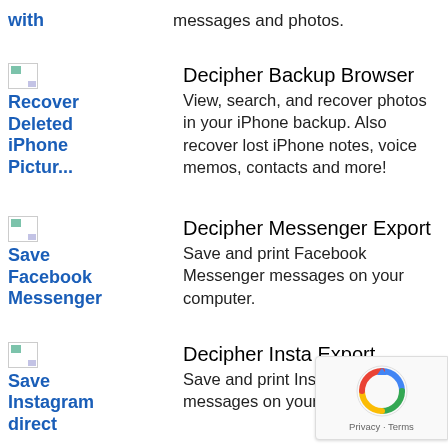with    messages and photos.
Decipher Backup Browser – View, search, and recover photos in your iPhone backup. Also recover lost iPhone notes, voice memos, contacts and more!
Decipher Messenger Export – Save and print Facebook Messenger messages on your computer.
Decipher Insta Export – Save and print Instagram direct messages on your computer.
Decipher Twit-DM Export – Save and print Twiter direct messages on